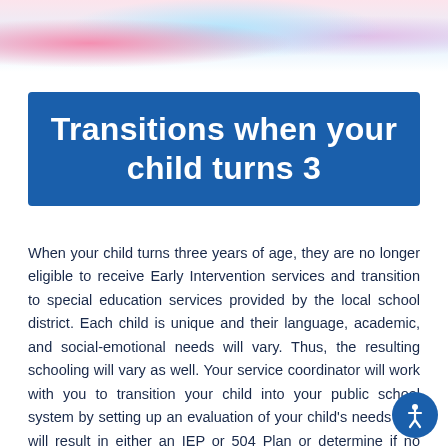[Figure (photo): Top portion of a photo showing baby/toddler clothing items and possibly hands, in pink and blue tones on a light background]
Transitions when your child turns 3
When your child turns three years of age, they are no longer eligible to receive Early Intervention services and transition to special education services provided by the local school district. Each child is unique and their language, academic, and social-emotional needs will vary. Thus, the resulting schooling will vary as well. Your service coordinator will work with you to transition your child into your public school system by setting up an evaluation of your child's needs that will result in either an IEP or 504 Plan or determine if no accommodations are necessary. Placement decisions should be based